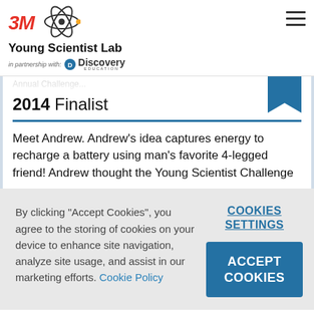3M Young Scientist Lab in partnership with Discovery Education
2014 Finalist
Meet Andrew. Andrew's idea captures energy to recharge a battery using man's favorite 4-legged friend! Andrew thought the Young Scientist Challenge
By clicking "Accept Cookies", you agree to the storing of cookies on your device to enhance site navigation, analyze site usage, and assist in our marketing efforts. Cookie Policy
COOKIES SETTINGS
ACCEPT COOKIES